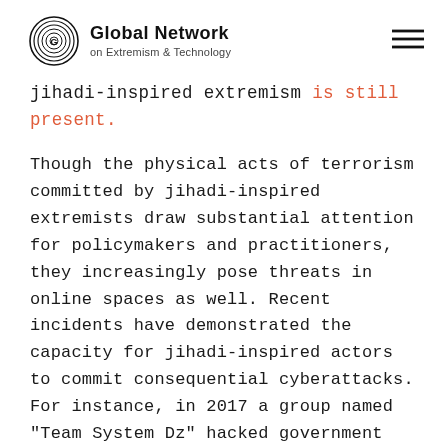Global Network on Extremism & Technology
jihadi-inspired extremism is still present.
Though the physical acts of terrorism committed by jihadi-inspired extremists draw substantial attention for policymakers and practitioners, they increasingly pose threats in online spaces as well. Recent incidents have demonstrated the capacity for jihadi-inspired actors to commit consequential cyberattacks. For instance, in 2017 a group named "Team System Dz" hacked government websites in Ohio, New York, and Maryland, displaying messages supporting Islamic State (IS) and threating then-president Donald Trump. A more extreme incident